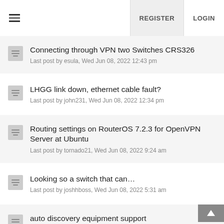REGISTER  LOGIN
Connecting through VPN two Switches CRS326
Last post by esula, Wed Jun 08, 2022 12:43 pm
LHGG link down, ethernet cable fault?
Last post by john231, Wed Jun 08, 2022 12:34 pm
Routing settings on RouterOS 7.2.3 for OpenVPN Server at Ubuntu
Last post by tornado21, Wed Jun 08, 2022 9:24 am
Looking so a switch that can…
Last post by joshhboss, Wed Jun 08, 2022 5:31 am
auto discovery equipment support
Last post by tmadaras, Tue Jun 07, 2022 6:06 pm
IPSec with NAT issues